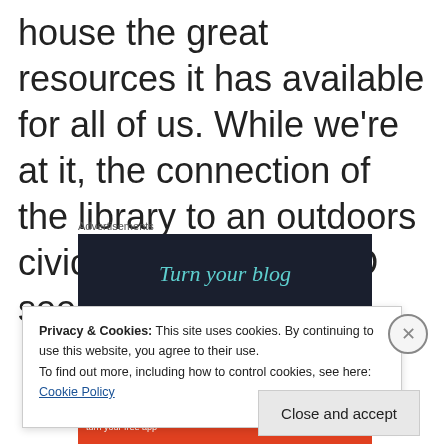number of visitors and properly house the great resources it has available for all of us. While we're at it, the connection of the library to an outdoors civic space in the CBD seems commonsense.
Advertisements
[Figure (screenshot): Dark advertisement banner with teal italic text reading 'Turn your blog']
Privacy & Cookies: This site uses cookies. By continuing to use this website, you agree to their use.
To find out more, including how to control cookies, see here: Cookie Policy
Close and accept